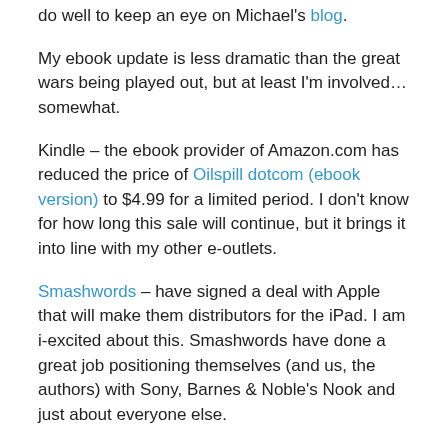do well to keep an eye on Michael's blog.
My ebook update is less dramatic than the great wars being played out, but at least I'm involved…somewhat.
Kindle – the ebook provider of Amazon.com has reduced the price of Oilspill dotcom (ebook version) to $4.99 for a limited period. I don't know for how long this sale will continue, but it brings it into line with my other e-outlets.
Smashwords – have signed a deal with Apple that will make them distributors for the iPad. I am i-excited about this. Smashwords have done a great job positioning themselves (and us, the authors) with Sony, Barnes & Noble's Nook and just about everyone else.
I am also proud of the fact that the next soldier to rake advantage of Operation Ebook Drop, and download my novel for free will be the 50th soldier to do so. Know